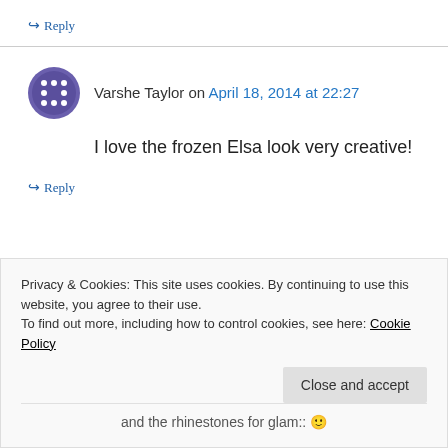↪ Reply
Varshe Taylor on April 18, 2014 at 22:27
I love the frozen Elsa look very creative!
↪ Reply
Privacy & Cookies: This site uses cookies. By continuing to use this website, you agree to their use.
To find out more, including how to control cookies, see here: Cookie Policy
Close and accept
and the rhinestones for glam::